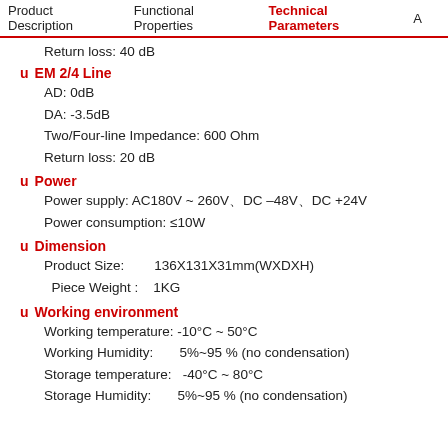Product Description | Functional Properties | Technical Parameters | A
Return loss: 40 dB
u  EM 2/4 Line
AD: 0dB
DA: -3.5dB
Two/Four-line Impedance: 600 Ohm
Return loss: 20 dB
u   Power
Power supply: AC180V ~ 260V、DC –48V、DC +24V
Power consumption: ≤10W
u   Dimension
Product Size:        136X131X31mm(WXDXH)
Piece Weight :    1KG
u  Working environment
Working temperature: -10°C ~ 50°C
Working Humidity:        5%~95 % (no condensation)
Storage temperature:   -40°C ~ 80°C
Storage Humidity:        5%~95 % (no condensation)